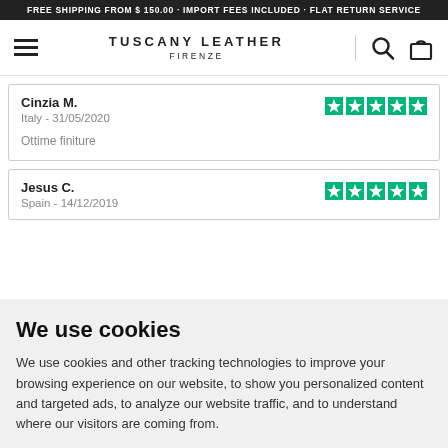FREE SHIPPING FROM $ 150.00 - IMPORT FEES INCLUDED - FLAT RETURN SERVICE
[Figure (logo): Tuscany Leather Firenze navigation bar with hamburger menu, brand name, search icon, and shopping bag icon]
Cinzia M.
Italy - 31/05/2020
Ottime finiture
Jesus C.
Spain - 14/12/2019
We use cookies
We use cookies and other tracking technologies to improve your browsing experience on our website, to show you personalized content and targeted ads, to analyze our website traffic, and to understand where our visitors are coming from.